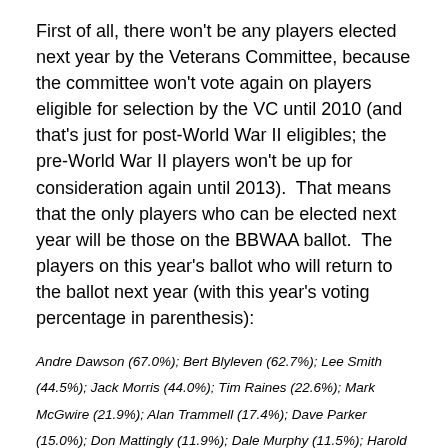First of all, there won't be any players elected next year by the Veterans Committee, because the committee won't vote again on players eligible for selection by the VC until 2010 (and that's just for post-World War II eligibles; the pre-World War II players won't be up for consideration again until 2013).  That means that the only players who can be elected next year will be those on the BBWAA ballot.  The players on this year's ballot who will return to the ballot next year (with this year's voting percentage in parenthesis):
Andre Dawson (67.0%); Bert Blyleven (62.7%); Lee Smith (44.5%); Jack Morris (44.0%); Tim Raines (22.6%); Mark McGwire (21.9%); Alan Trammell (17.4%); Dave Parker (15.0%); Don Mattingly (11.9%); Dale Murphy (11.5%); Harold Baines (5.9%)
Now, here is a list of players who next year will be eligible for the BBWAA ballot for the first time and are likely to be elected: